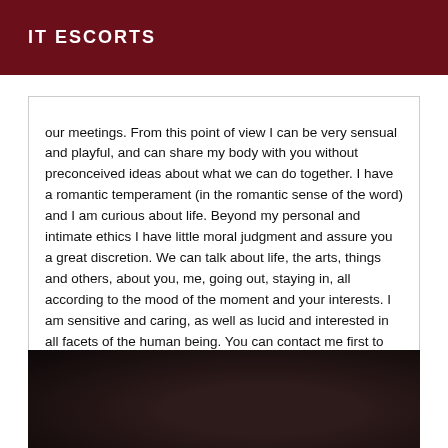IT ESCORTS
our meetings. From this point of view I can be very sensual and playful, and can share my body with you without preconceived ideas about what we can do together. I have a romantic temperament (in the romantic sense of the word) and I am curious about life. Beyond my personal and intimate ethics I have little moral judgment and assure you a great discretion. We can talk about life, the arts, things and others, about you, me, going out, staying in, all according to the mood of the moment and your interests. I am sensitive and caring, as well as lucid and interested in all facets of the human being. You can contact me first to discuss and decide if you want to use my services.
[Figure (photo): Dark, dimly lit photograph, predominantly very dark brown/black tones, appears to be a portrait or figure shot with very low lighting.]